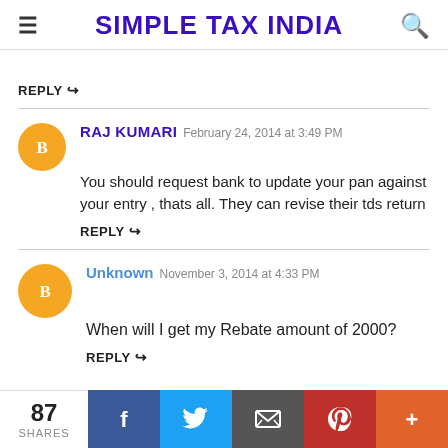SIMPLE TAX INDIA
REPLY
RAJ KUMARI  February 24, 2014 at 3:49 PM
You should request bank to update your pan against your entry , thats all. They can revise their tds return
REPLY
Unknown  November 3, 2014 at 4:33 PM
When will I get my Rebate amount of 2000?
REPLY